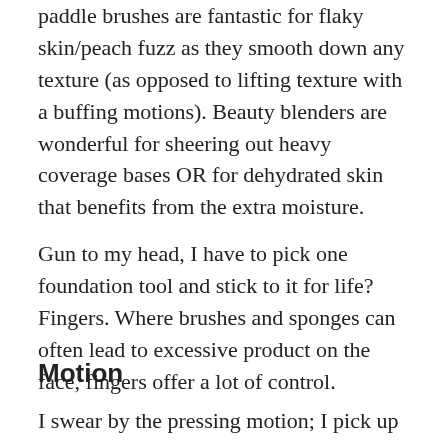paddle brushes are fantastic for flaky skin/peach fuzz as they smooth down any texture (as opposed to lifting texture with a buffing motions). Beauty blenders are wonderful for sheering out heavy coverage bases OR for dehydrated skin that benefits from the extra moisture.
Gun to my head, I have to pick one foundation tool and stick to it for life? Fingers. Where brushes and sponges can often lead to excessive product on the face, fingers offer a lot of control.
Motion
I swear by the pressing motion; I pick up a verrrry